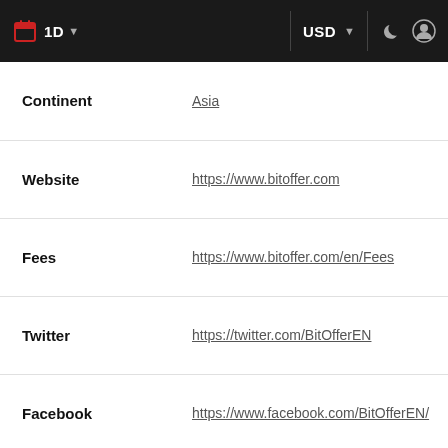1D  USD
| Field | Value |
| --- | --- |
| Continent | Asia |
| Website | https://www.bitoffer.com |
| Fees | https://www.bitoffer.com/en/Fees |
| Twitter | https://twitter.com/BitOfferEN |
| Facebook | https://www.facebook.com/BitOfferEN/ |
| Chat | https://t.co/myT2dDfnP2?amp=1 |